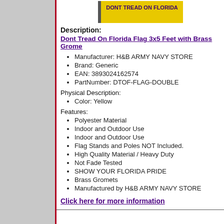[Figure (illustration): Yellow flag with text DONT TREAD ON FLORIDA in dark/purple letters]
Description:
Dont Tread On Florida Flag 3x5 Feet with Brass Gromes
Manufacturer: H&B ARMY NAVY STORE
Brand: Generic
EAN: 3893024162574
PartNumber: DTOF-FLAG-DOUBLE
Physical Description:
Color: Yellow
Features:
Polyester Material
Indoor and Outdoor Use
Indoor and Outdoor Use
Flag Stands and Poles NOT Included.
High Quality Material / Heavy Duty
Not Fade Tested
SHOW YOUR FLORIDA PRIDE
Brass Gromets
Manufactured by H&B ARMY NAVY STORE
Click here for more information